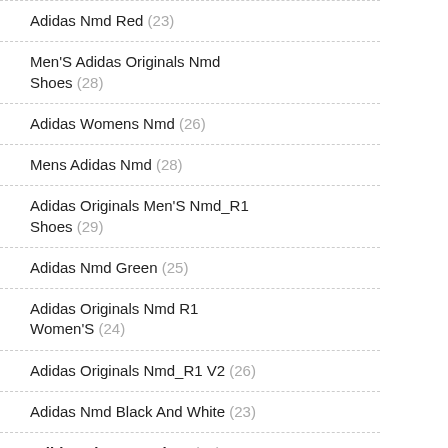Adidas Nmd Red (23)
Men'S Adidas Originals Nmd Shoes (28)
Adidas Womens Nmd (26)
Mens Adidas Nmd (28)
Adidas Originals Men'S Nmd_R1 Shoes (29)
Adidas Nmd Green (25)
Adidas Originals Nmd R1 Women'S (24)
Adidas Originals Nmd_R1 V2 (26)
Adidas Nmd Black And White (23)
Adidas Shoes Nmd R1 (28)
Men'S Adidas Nmd R1 (26)
Adidas Nmd R1 Women'S White (23)
Women'S Adidas Originals Nmd R1 Casual Shoes (24)